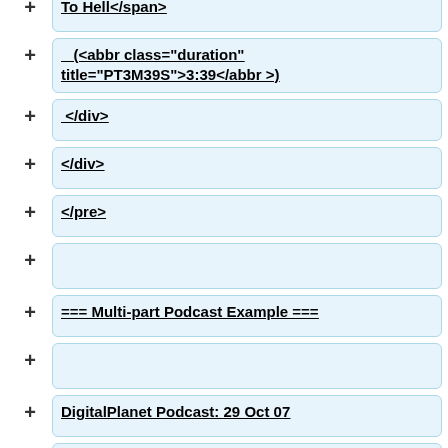To Hell</span>
(<abbr class="duration" title="PT3M39S">3:39</abbr >)
</div>
</div>
</pre>
=== Multi-part Podcast Example ===
DigitalPlanet Podcast: 29 Oct 07